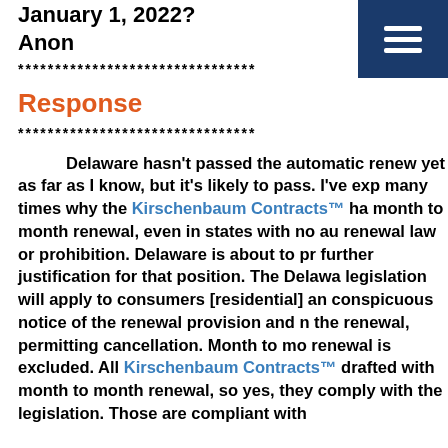January 1, 2022?
Anon
********************************
Response
********************************
Delaware hasn't passed the automatic renewal yet as far as I know, but it's likely to pass. I've explained many times why the Kirschenbaum Contracts™ has month to month renewal, even in states with no automatic renewal law or prohibition. Delaware is about to provide further justification for that position. The Delaware legislation will apply to consumers [residential] and conspicuous notice of the renewal provision and notice of the renewal, permitting cancellation. Month to month renewal is excluded. All Kirschenbaum Contracts™ drafted with month to month renewal, so yes, they comply with the legislation. Those are compliant with
[Figure (other): Navy blue hamburger menu button with three white horizontal lines, top right corner navigation element]